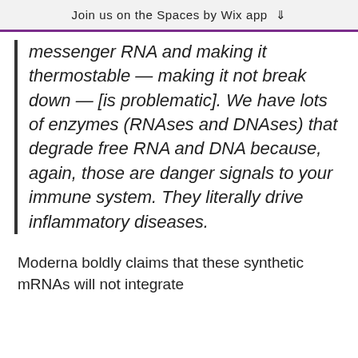Join us on the Spaces by Wix app
messenger RNA and making it thermostable — making it not break down — [is problematic]. We have lots of enzymes (RNAses and DNAses) that degrade free RNA and DNA because, again, those are danger signals to your immune system. They literally drive inflammatory diseases.
Moderna boldly claims that these synthetic mRNAs will not integrate